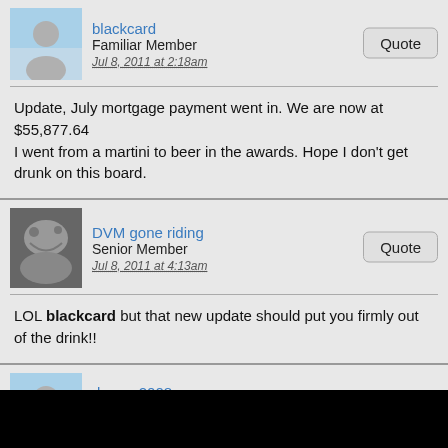[Figure (illustration): Avatar image of user blackcard - generic grey person silhouette with blue sky background]
blackcard
Familiar Member
Jul 8, 2011 at 2:18am
Update, July mortgage payment went in. We are now at $55,877.64
I went from a martini to beer in the awards. Hope I don't get drunk on this board.
[Figure (photo): Avatar image of user DVM gone riding - photo of a dog or animal]
DVM gone riding
Senior Member
Jul 8, 2011 at 4:13am
LOL blackcard but that new update should put you firmly out of the drink!!
[Figure (illustration): Avatar image of user dragon2008 - generic grey person silhouette with blue sky background]
dragon2008
Established Member
Jul 13, 2011 at 9:44pm
50K-100K Update!

This update puts the Club at over 20% paid!

BlackCard made some mighty leaps, moving to #5 from #9 on the list.